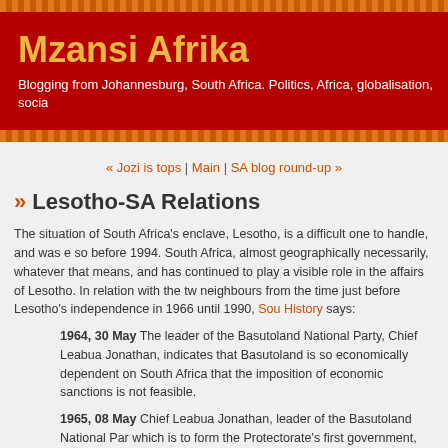Mzansi Afrika
Blogging from Johannesburg, South Africa. Politics, Africa, globalisation, socia
« Jozi is tops | Main | SA blog round-up »
» Lesotho-SA Relations
The situation of South Africa's enclave, Lesotho, is a difficult one to handle, and was so before 1994. South Africa, almost geographically necessarily, whatever that means, and has continued to play a visible role in the affairs of Lesotho. In relation with the two neighbours from the time just before Lesotho's independence in 1966 until 1990, South History says:
1964, 30 May The leader of the Basutoland National Party, Chief Leabua Jonathan, indicates that Basutoland is so economically dependent on South Africa that the imposition of economic sanctions is not feasible.
1965, 08 May Chief Leabua Jonathan, leader of the Basutoland National Party, which is to form the Protectorate's first government, tells political refugees that they are welcome to stay provided they do not use Basutoland as a base for operations against South Africa.
1966, xx xxx Phyllis Naidoo banned. Arrested for ten days for breaking banning order. She leaves for Lesotho where she becomes a victim of a parcel bomb.